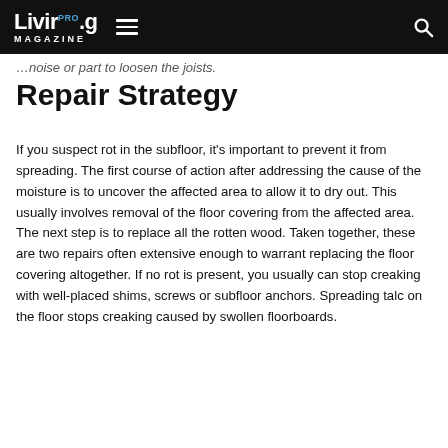Living.Pro MAGAZINE
…oise or part to loosen the joists.
Repair Strategy
If you suspect rot in the subfloor, it's important to prevent it from spreading. The first course of action after addressing the cause of the moisture is to uncover the affected area to allow it to dry out. This usually involves removal of the floor covering from the affected area. The next step is to replace all the rotten wood. Taken together, these are two repairs often extensive enough to warrant replacing the floor covering altogether. If no rot is present, you usually can stop creaking with well-placed shims, screws or subfloor anchors. Spreading talc on the floor stops creaking caused by swollen floorboards.